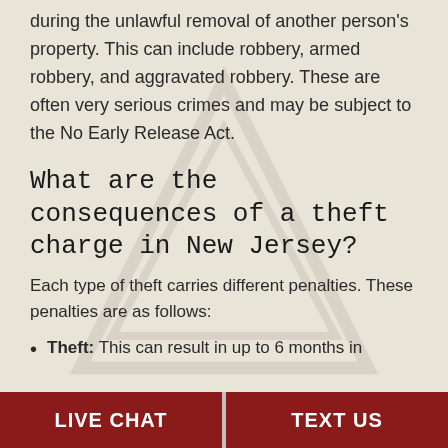during the unlawful removal of another person's property. This can include robbery, armed robbery, and aggravated robbery. These are often very serious crimes and may be subject to the No Early Release Act.
What are the consequences of a theft charge in New Jersey?
Each type of theft carries different penalties. These penalties are as follows:
Theft: This can result in up to 6 months in
LIVE CHAT | TEXT US